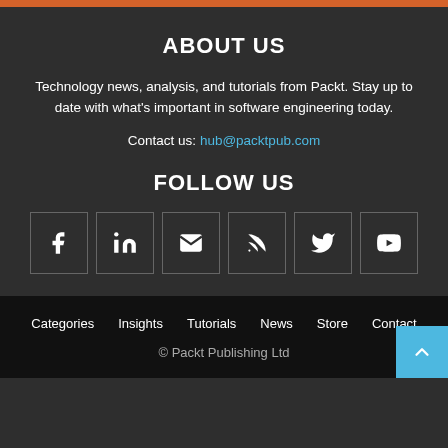ABOUT US
Technology news, analysis, and tutorials from Packt. Stay up to date with what's important in software engineering today.
Contact us: hub@packtpub.com
FOLLOW US
[Figure (infographic): Row of 6 social media icon boxes: Facebook, LinkedIn, Email, RSS, Twitter, YouTube]
Categories  Insights  Tutorials  News  Store  Contact
© Packt Publishing Ltd